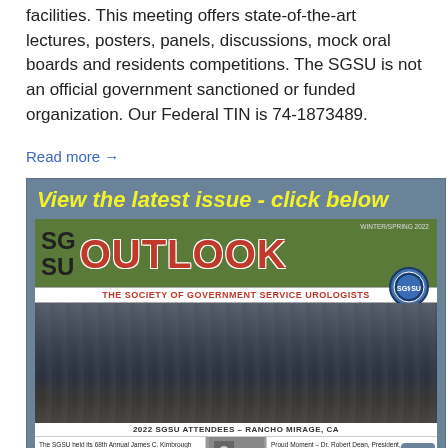facilities. This meeting offers state-of-the-art lectures, posters, panels, discussions, mock oral boards and residents competitions. The SGSU is not an official government sanctioned or funded organization. Our Federal TIN is 74-1873489.
Read more →
[Figure (illustration): SGSU Outlook magazine cover - Winter/Spring 2022 issue with group photo of 2022 SGSU Attendees at Rancho Mirage, CA, and bottom strip showing seminar and Dr. Robert Dean content]